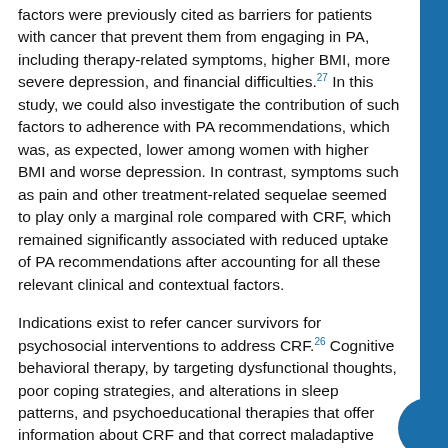factors were previously cited as barriers for patients with cancer that prevent them from engaging in PA, including therapy-related symptoms, higher BMI, more severe depression, and financial difficulties.27 In this study, we could also investigate the contribution of such factors to adherence with PA recommendations, which was, as expected, lower among women with higher BMI and worse depression. In contrast, symptoms such as pain and other treatment-related sequelae seemed to play only a marginal role compared with CRF, which remained significantly associated with reduced uptake of PA recommendations after accounting for all these relevant clinical and contextual factors.
Indications exist to refer cancer survivors for psychosocial interventions to address CRF.26 Cognitive behavioral therapy, by targeting dysfunctional thoughts, poor coping strategies, and alterations in sleep patterns, and psychoeducational therapies that offer information about CRF and that correct maladaptive thoughts such as overdramatizing, are capable of improving CRF significantly.51,52 In the CANTO study, the use of consultations with psychologists and